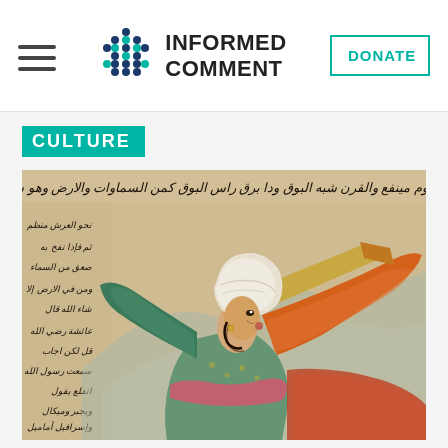INFORMED COMMENT
CULTURE
[Figure (illustration): Islamic manuscript illustration of an angel with colorful wings wearing a white turban and elaborate green and pink robes, blowing a long trumpet. Arabic calligraphic text appears on the left side and top of the image. The background is a warm beige/tan parchment color.]